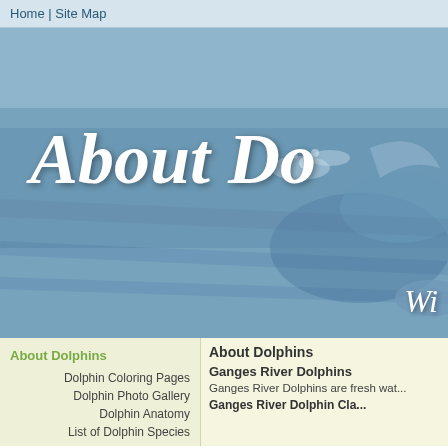Home | Site Map
[Figure (photo): Banner image showing dolphins jumping in ocean water with large italic text 'About Do...' and 'Wi...' overlay]
About Dolphins
Dolphin Coloring Pages
Dolphin Photo Gallery
Dolphin Anatomy
List of Dolphin Species
About Dolphins
Ganges River Dolphins
Ganges River Dolphins are fresh wat...
Ganges River Dolphin Cla...